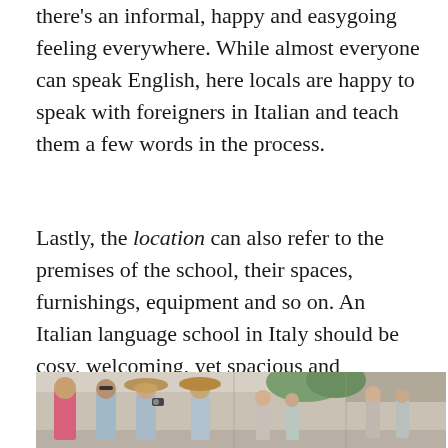there's an informal, happy and easygoing feeling everywhere. While almost everyone can speak English, here locals are happy to speak with foreigners in Italian and teach them a few words in the process.
Lastly, the location can also refer to the premises of the school, their spaces, furnishings, equipment and so on. An Italian language school in Italy should be cosy, welcoming, yet spacious and equipped. Wouldn't it be great if all schools looked just like this one?
[Figure (photo): Group of tourists walking in an Italian street; a woman in a wide-brimmed hat holds a camera, another woman in sunglasses walks beside a man in a pink shirt, with more people in the background among stone buildings and greenery.]